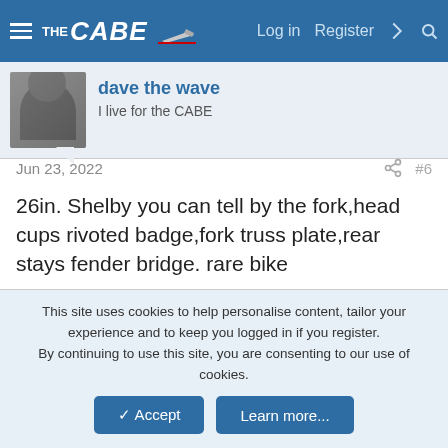THE CABE — Log in  Register
dave the wave
I live for the CABE
Jun 23, 2022  #6
26in. Shelby you can tell by the fork,head cups rivoted badge,fork truss plate,rear stays fender bridge. rare bike
hoofhearted, BrianInPA and Archie Sturmer
This site uses cookies to help personalise content, tailor your experience and to keep you logged in if you register.
By continuing to use this site, you are consenting to our use of cookies.